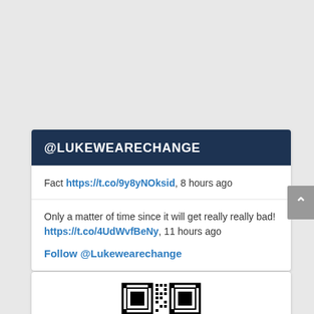@LUKEWEARECHANGE
Fact https://t.co/9y8yNOksid, 8 hours ago
Only a matter of time since it will get really really bad! https://t.co/4UdWvfBeNy, 11 hours ago
Follow @Lukewearechange
[Figure (other): QR code at bottom of page]